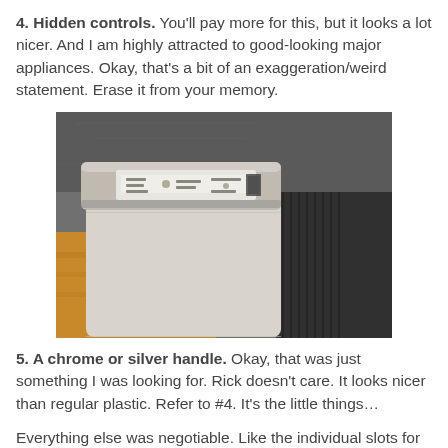4. Hidden controls. You'll pay more for this, but it looks a lot nicer. And I am highly attracted to good-looking major appliances. Okay, that's a bit of an exaggeration/weird statement. Erase it from your memory.
[Figure (photo): Close-up photo of a dishwasher with hidden controls on the top edge of the door, showing a chrome/silver handle and control panel with buttons and indicators.]
5. A chrome or silver handle. Okay, that was just something I was looking for. Rick doesn't care. It looks nicer than regular plastic. Refer to #4. It's the little things…
Everything else was negotiable. Like the individual slots for silverware and the fact that the upper rack can be lowered to